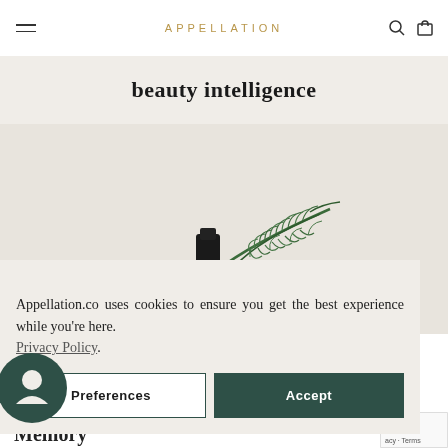APPELLATION
beauty intelligence
[Figure (photo): A rosemary sprig with a small dark product bottle partially visible, on a warm beige background]
Appellation.co uses cookies to ensure you get the best experience while you're here. Privacy Policy.
Preferences | Accept
Memory